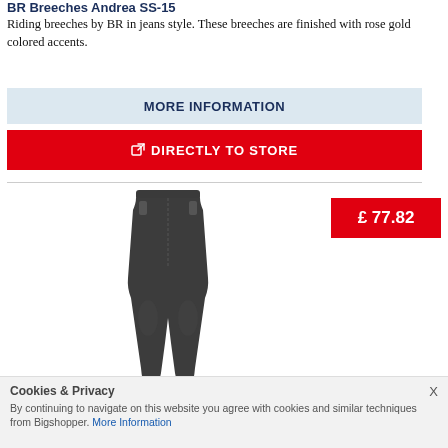BR Breeches Andrea SS-15
Riding breeches by BR in jeans style. These breeches are finished with rose gold colored accents.
MORE INFORMATION
DIRECTLY TO STORE
[Figure (photo): Dark grey riding breeches product photo, full length, showing fitted jeans-style breeches with zipper pockets]
£ 77.82
Cookies & Privacy
By continuing to navigate on this website you agree with cookies and similar techniques from Bigshopper. More Information